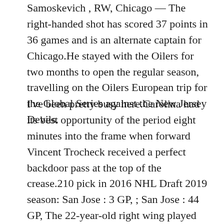Samoskevich , RW, Chicago — The right-handed shot has scored 37 points in 36 games and is an alternate captain for Chicago.He stayed with the Oilers for two months to open the regular season, travelling on the Oilers European trip for the Global Series against the New Jersey Devils.
I've been pretty busy here.Carolina had its best opportunity of the period eight minutes into the frame when forward Vincent Trocheck received a perfect backdoor pass at the top of the crease.210 pick in 2016 NHL Draft 2019 season: San Jose : 3 GP, ; San Jose : 44 GP, The 22-year-old right wing played most of last season in the AHL but got some NHL experience.Race participants will have the option to run jersey baseball design kilometers in their own hometowns at any time between September 17 and 20 while donning their best Gritty costumes.You may also visit .